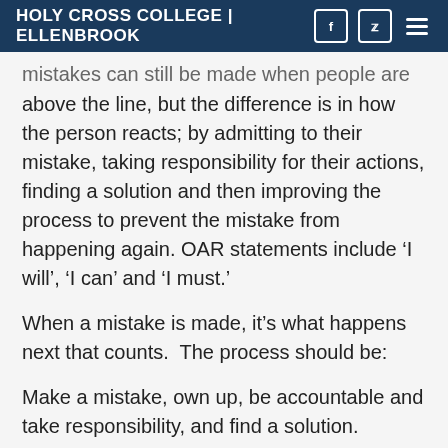HOLY CROSS COLLEGE | ELLENBROOK
mistakes can still be made when people are acting above the line, but the difference is in how the person reacts; by admitting to their mistake, taking responsibility for their actions, finding a solution and then improving the process to prevent the mistake from happening again. OAR statements include ‘I will’, ‘I can’ and ‘I must.’
When a mistake is made, it’s what happens next that counts.  The process should be:
Make a mistake, own up, be accountable and take responsibility, and find a solution.
Sadly, when we do slip below the line we release our inner lawyer where we feel the need to defend ourselves or to justify our errant behaviours